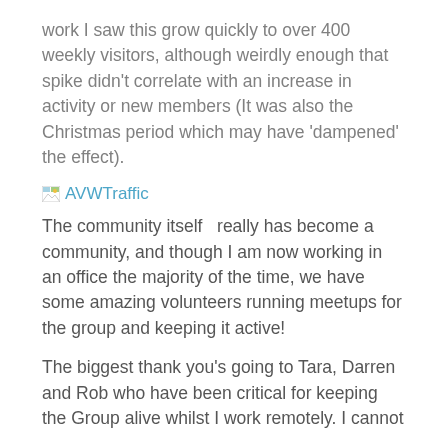work I saw this grow quickly to over 400 weekly visitors, although weirdly enough that spike didn't correlate with an increase in activity or new members (It was also the Christmas period which may have 'dampened' the effect).
[Figure (other): Broken image placeholder with link text 'AVWTraffic']
The community itself  really has become a community, and though I am now working in an office the majority of the time, we have some amazing volunteers running meetups for the group and keeping it active!
The biggest thank you's going to Tara, Darren and Rob who have been critical for keeping the Group alive whilst I work remotely. I cannot